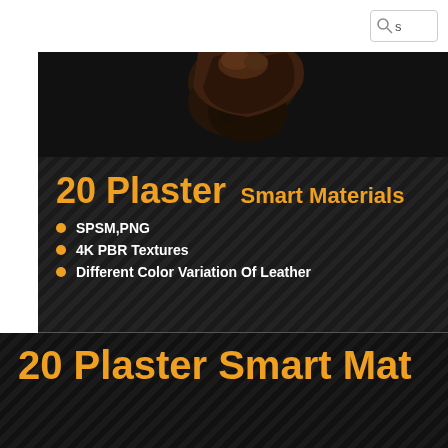[Figure (screenshot): Top white navigation bar with search icon (magnifying glass and 's' letter) in top right corner]
[Figure (photo): Dark-toned plaster sculpture figure against black diagonal-striped background, top portion visible]
20 Plaster Smart Materials
SPSM,PNG
4K PBR Textures
Different Color Variation Of Leather
20 Plaster Smart Mat
[Figure (photo): Three plaster sculpture figures against black background: white/beige plaster figure on left, teal/green plaster figure in center, partially visible figure on right]